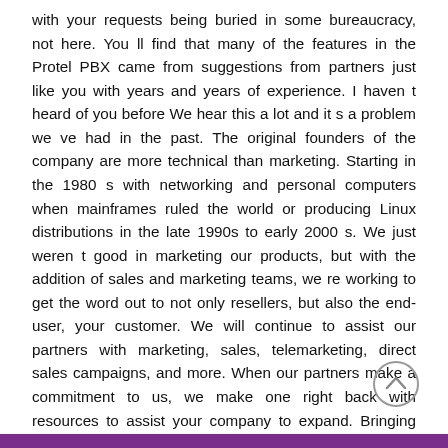with your requests being buried in some bureaucracy, not here. You ll find that many of the features in the Protel PBX came from suggestions from partners just like you with years and years of experience. I haven t heard of you before We hear this a lot and it s a problem we ve had in the past. The original founders of the company are more technical than marketing. Starting in the 1980 s with networking and personal computers when mainframes ruled the world or producing Linux distributions in the late 1990s to early 2000 s. We just weren t good in marketing our products, but with the addition of sales and marketing teams, we re working to get the word out to not only resellers, but also the end-user, your customer. We will continue to assist our partners with marketing, sales, telemarketing, direct sales campaigns, and more. When our partners make a commitment to us, we make one right back with resources to assist your company to expand. Bringing better products and solutions to market with help from our expanding partner network.
[Figure (other): Circular scroll-up button with upward-pointing chevron arrow, gray outline circle]